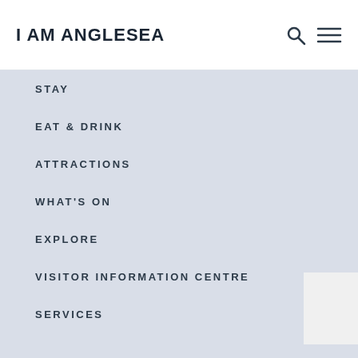I AM ANGLESEA
STAY
EAT & DRINK
ATTRACTIONS
WHAT'S ON
EXPLORE
VISITOR INFORMATION CENTRE
SERVICES